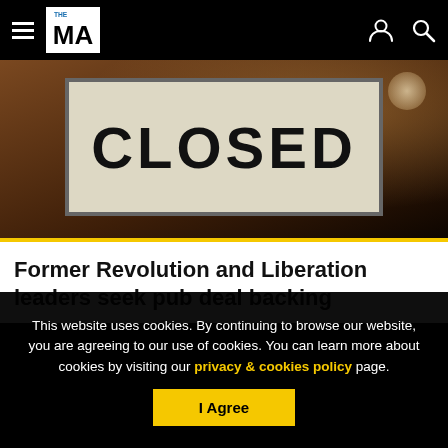THE MA — navigation header with hamburger menu, logo, user icon, search icon
[Figure (photo): A close-up photograph of a storefront 'CLOSED' sign hanging in a window, warm brown/amber bokeh background]
Former Revolution and Liberation leaders seek pub deal backing
This website uses cookies. By continuing to browse our website, you are agreeing to our use of cookies. You can learn more about cookies by visiting our privacy & cookies policy page.